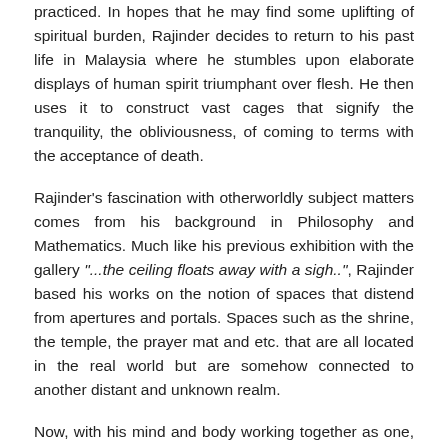practiced. In hopes that he may find some uplifting of spiritual burden, Rajinder decides to return to his past life in Malaysia where he stumbles upon elaborate displays of human spirit triumphant over flesh. He then uses it to construct vast cages that signify the tranquility, the obliviousness, of coming to terms with the acceptance of death.
Rajinder's fascination with otherworldly subject matters comes from his background in Philosophy and Mathematics. Much like his previous exhibition with the gallery "...the ceiling floats away with a sigh..", Rajinder based his works on the notion of spaces that distend from apertures and portals. Spaces such as the shrine, the temple, the prayer mat and etc. that are all located in the real world but are somehow connected to another distant and unknown realm.
Now, with his mind and body working together as one, Rajinder recalibrates himself as a final rite and preparation